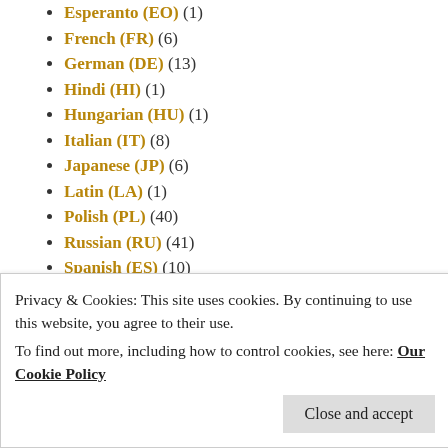Esperanto (EO) (1)
French (FR) (6)
German (DE) (13)
Hindi (HI) (1)
Hungarian (HU) (1)
Italian (IT) (8)
Japanese (JP) (6)
Latin (LA) (1)
Polish (PL) (40)
Russian (RU) (41)
Spanish (ES) (10)
Turkish (TR) (11)
Welsh (CY) (6)
Interviews (4)
Jokes (1)
Languages and Linguistics (186)
GoldList Method (94)
Privacy & Cookies: This site uses cookies. By continuing to use this website, you agree to their use. To find out more, including how to control cookies, see here: Our Cookie Policy
Close and accept